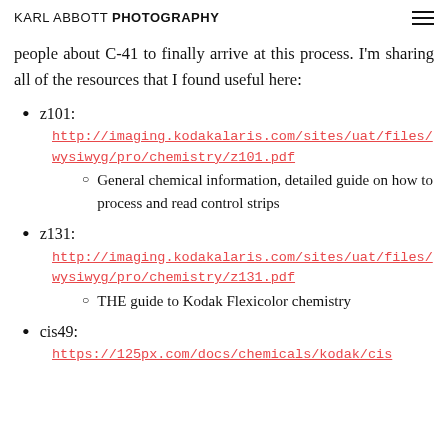KARL ABBOTT PHOTOGRAPHY
people about C-41 to finally arrive at this process. I'm sharing all of the resources that I found useful here:
z101: http://imaging.kodakalaris.com/sites/uat/files/wysiwyg/pro/chemistry/z101.pdf — General chemical information, detailed guide on how to process and read control strips
z131: http://imaging.kodakalaris.com/sites/uat/files/wysiwyg/pro/chemistry/z131.pdf — THE guide to Kodak Flexicolor chemistry
cis49: https://125px.com/docs/chemicals/kodak/cis